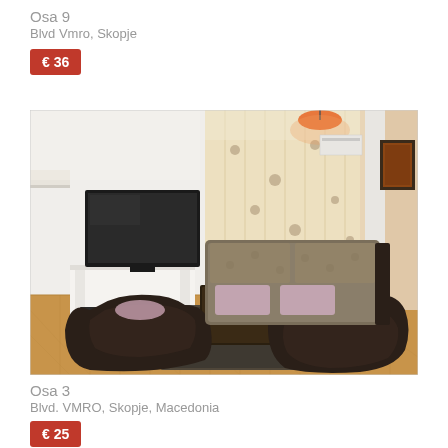Osa 9
Blvd Vmro, Skopje
€ 36
[Figure (photo): Interior photo of an apartment living room with dark leather chairs, a sofa with floral pattern, a TV on a white stand, a wooden coffee table on a dark rug, sheer floral curtains, a wall-mounted air conditioner, a framed picture on a beige/peach wall, and hardwood parquet flooring.]
Osa 3
Blvd. VMRO, Skopje, Macedonia
€ 25